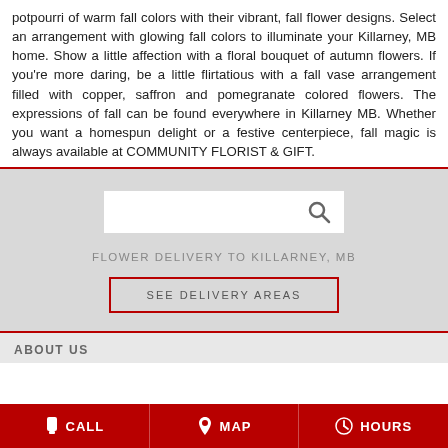potpourri of warm fall colors with their vibrant, fall flower designs. Select an arrangement with glowing fall colors to illuminate your Killarney, MB home. Show a little affection with a floral bouquet of autumn flowers. If you're more daring, be a little flirtatious with a fall vase arrangement filled with copper, saffron and pomegranate colored flowers. The expressions of fall can be found everywhere in Killarney MB. Whether you want a homespun delight or a festive centerpiece, fall magic is always available at COMMUNITY FLORIST & GIFT.
[Figure (screenshot): Search box with magnifying glass icon on grey background]
FLOWER DELIVERY TO KILLARNEY, MB
SEE DELIVERY AREAS
ABOUT US
CALL  MAP  HOURS